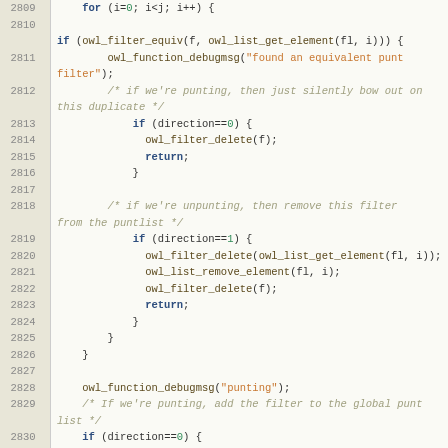[Figure (screenshot): Source code viewer showing C code lines 2809-2836, with line numbers in a tan/beige gutter and code on a light background. Syntax highlighting: keywords in dark blue bold, strings in orange, numbers in green, comments in olive italic.]